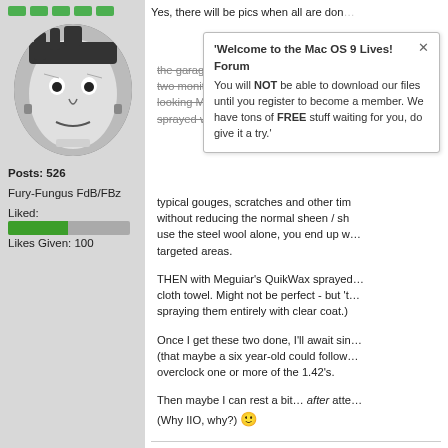[Figure (photo): Black and white avatar photo of a Frankenstein-like character]
Posts: 526
Fury-Fungus FdB/FBz
Liked:
[Figure (infographic): Green/grey like progress bar]
Likes Given: 100
[Figure (screenshot): Popup dialog: 'Welcome to the Mac OS 9 Lives! Forum You will NOT be able to download our files until you register to become a member. We have tons of FREE stuff waiting for you, do give it a try.']
Yes, there will be pics when all are don... the garage cle... CPU trans... looking MDDs... used quadruple-aught... sprayed with GOO GONE (goo and adh... typical gouges, scratches and other tim... without reducing the normal sheen / sh... use the steel wool alone, you end up w... targeted areas.
THEN with Meguiar’s QuikWax sprayed... cloth towel. Might not be perfect - but 't... spraying them entirely with clear coat.)
Once I get these two done, I’ll await sin... (that maybe a six year-old could follow... overclock one or more of the 1.42’s.
Then maybe I can rest a bit… after atte... (Why IIO, why?) 🙂
Likes DieHard and Greystash like this...